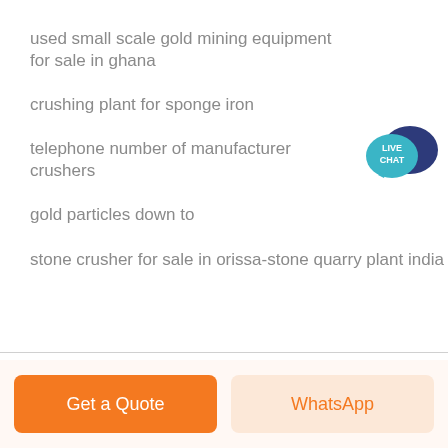used small scale gold mining equipment for sale in ghana
crushing plant for sponge iron
[Figure (illustration): Live chat speech bubble icon in teal and dark blue with text LIVE CHAT]
telephone number of manufacturer crushers
gold particles down to
stone crusher for sale in orissa-stone quarry plant india
Get a Quote   WhatsApp